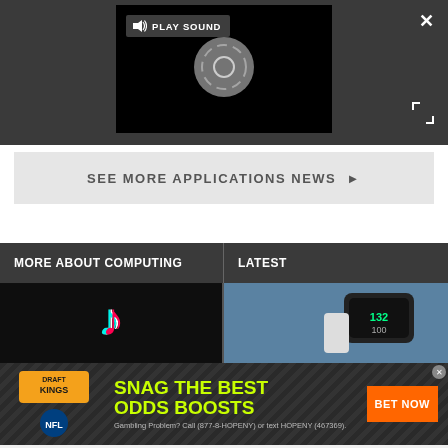[Figure (screenshot): Video player with dark gray background, black video area, loading spinner, PLAY SOUND button, close X button, and expand icon]
SEE MORE APPLICATIONS NEWS ▶
MORE ABOUT COMPUTING
LATEST
[Figure (photo): TikTok logo on dark background]
[Figure (photo): Smartwatch on wrist showing health metrics]
[Figure (screenshot): DraftKings NFL advertisement: SNAG THE BEST ODDS BOOSTS with BET NOW button. Gambling Problem? Call (877-8-HOPENY) or text HOPENY (467369).]